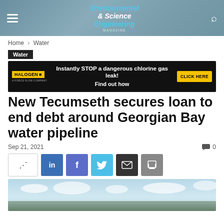Environmental & Science & Engineering Magazine
Home › Water
Water
[Figure (other): Advertisement banner: Instantly STOP a dangerous chlorine gas leak! HALOGEN – A Force Flow Company. Find out how. CLICK HERE.]
New Tecumseth secures loan to end debt around Georgian Bay water pipeline
Sep 21, 2021
0
[Figure (photo): Sky and clouds photo serving as hero image for the article]